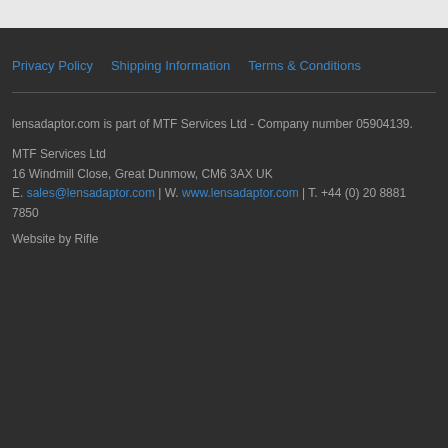Privacy Policy
Shipping Information
Terms & Conditions
lensadaptor.com is part of MTF Services Ltd - Company number 05904139.
MTF Services Ltd
16 Windmill Close, Great Dunmow, CM6 3AX UK
E. sales@lensadaptor.com | W. www.lensadaptor.com | T. +44 (0) 20 8881 7850
Website by Rifle